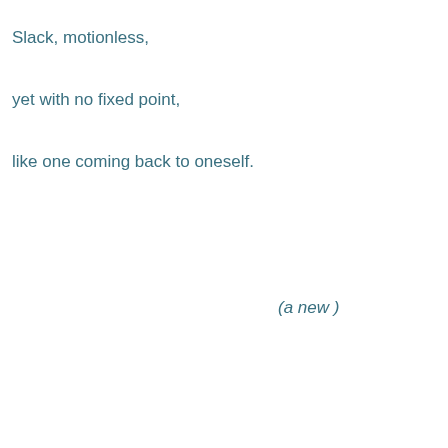Slack, motionless,
yet with no fixed point,
like one coming back to oneself.
(a new )